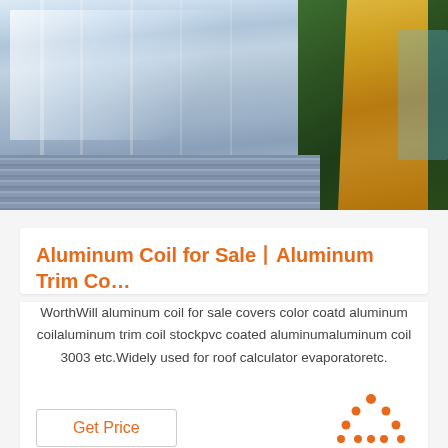[Figure (photo): Stack of aluminum coil/sheet plates with shiny metallic surface, wrapped in yellow/orange packaging on the right side with green background visible]
Aluminum Coil for Sale丨Aluminum Trim Co…
WorthWill aluminum coil for sale covers color coatd aluminum coilaluminum trim coil stockpvc coated aluminumaluminum coil 3003 etc.Widely used for roof calculator evaporatoretc.
[Figure (logo): TOP logo with orange dotted triangle above and orange bold TOP text below]
Get Price